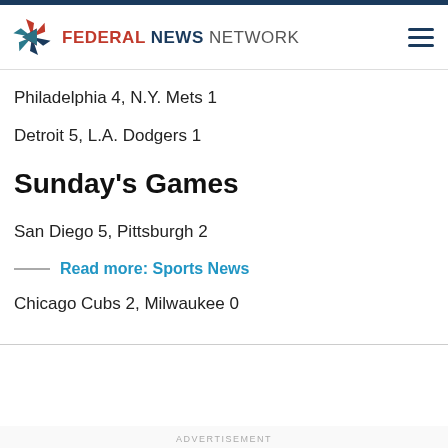FEDERAL NEWS NETWORK
Philadelphia 4, N.Y. Mets 1
Detroit 5, L.A. Dodgers 1
Sunday's Games
San Diego 5, Pittsburgh 2
Read more: Sports News
Chicago Cubs 2, Milwaukee 0
ADVERTISEMENT